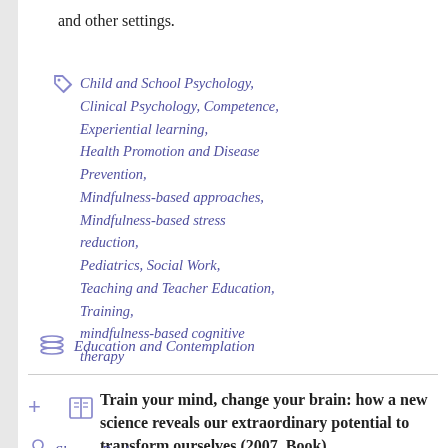and other settings.
Child and School Psychology, Clinical Psychology, Competence, Experiential learning, Health Promotion and Disease Prevention, Mindfulness-based approaches, Mindfulness-based stress reduction, Pediatrics, Social Work, Teaching and Teacher Education, Training, mindfulness-based cognitive therapy
Education and Contemplation
Train your mind, change your brain: how a new science reveals our extraordinary potential to transform ourselves (2007, Book)
Sharon Begley